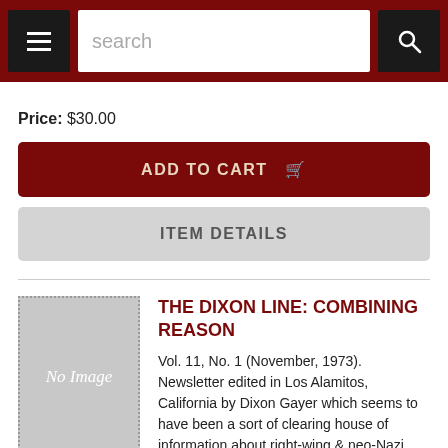search
Price: $30.00
ADD TO CART
ITEM DETAILS
THE DIXON LINE: COMBINING REASON
Vol. 11, No. 1 (November, 1973). Newsletter edited in Los Alamitos, California by Dixon Gayer which seems to have been a sort of clearing house of information about right-wing & neo-Nazi groups. The lead article in this issue is "Have a Happy Nazi Christmas" in which